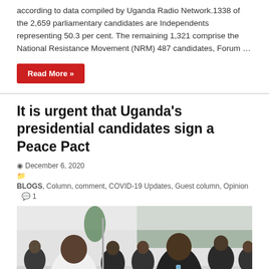according to data compiled by Uganda Radio Network.1338 of the 2,659 parliamentary candidates are Independents representing 50.3 per cent. The remaining 1,321 comprise the National Resistance Movement (NRM) 487 candidates, Forum …
Read More »
It is urgent that Uganda's presidential candidates sign a Peace Pact
December 6, 2020
BLOGS, Column, comment, COVID-19 Updates, Guest column, Opinion  1
[Figure (photo): Two men shaking hands at an event with other people standing in the background. One man wears a white shirt, the other wears a dark suit.]